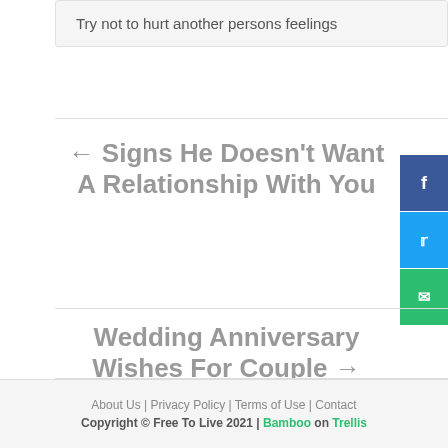Try not to hurt another persons feelings
← Signs He Doesn't Want A Relationship With You
Wedding Anniversary Wishes For Couple →
About Us | Privacy Policy | Terms of Use | Contact
Copyright © Free To Live 2021 | Bamboo on Trellis